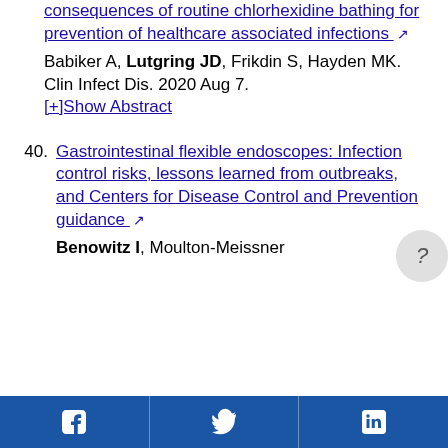consequences of routine chlorhexidine bathing for prevention of healthcare associated infections [ext link] Babiker A, Lutgring JD, Frikdin S, Hayden MK. Clin Infect Dis. 2020 Aug 7. [+]Show Abstract
40. Gastrointestinal flexible endoscopes: Infection control risks, lessons learned from outbreaks, and Centers for Disease Control and Prevention guidance [ext link] Benowitz I, Moulton-Meissner
Facebook | Twitter | LinkedIn